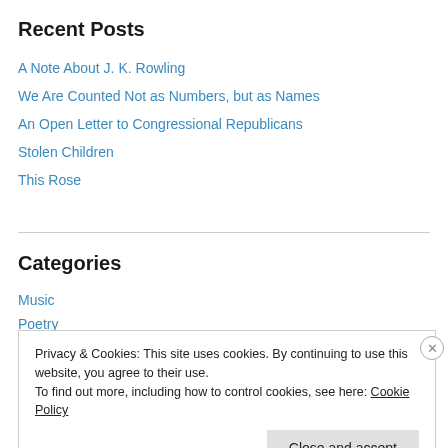Recent Posts
A Note About J. K. Rowling
We Are Counted Not as Numbers, but as Names
An Open Letter to Congressional Republicans
Stolen Children
This Rose
Categories
Music
Poetry
Privacy & Cookies: This site uses cookies. By continuing to use this website, you agree to their use.
To find out more, including how to control cookies, see here: Cookie Policy
Close and accept